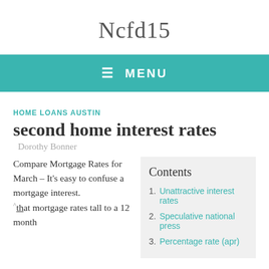Ncfd15
≡ MENU
HOME LOANS AUSTIN
second home interest rates
Dorothy Bonner
Compare Mortgage Rates for March – It's easy to confuse a mortgage interest. ^that mortgage rates tall to a 12 month
1. Unattractive interest rates
2. Speculative national press
3. Percentage rate (apr)